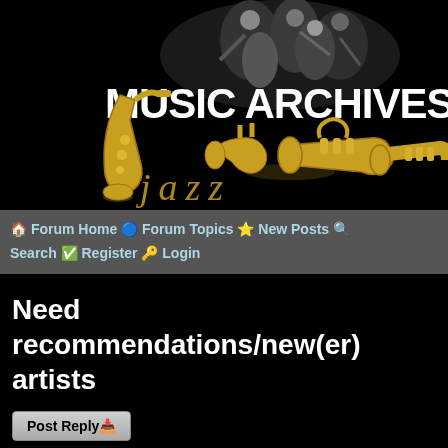[Figure (illustration): Jazz Music Archives banner with jazz musicians silhouettes and large text 'MUSIC ARCHIVES JAZZ' with golden saxophone and trumpet instruments on black background]
🏠 Forum Home 🔵 Forum Topics ⭐ New Posts 🔍 Search ✅ Register 🔑 Login
Need recommendations/new(er) artists
Post Reply 📥
Need recommendations/new(er) artists